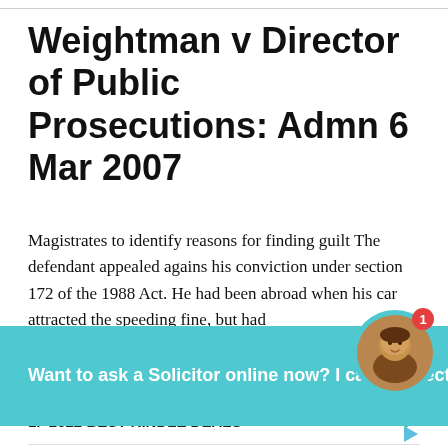Weightman v Director of Public Prosecutions: Admn 6 Mar 2007
Magistrates to identify reasons for finding guilt The defendant appealed agains his conviction under section 172 of the 1988 Act. He had been abroad when his car attracted the speeding fine, but had pe... T...
[Figure (other): Chat banner with teal background reading 'Want to ask a Solicitor online now? I can connect you ...' with a circular avatar photo of a smiling woman and a red badge showing number 1]
Search for
1.  2022 BEST KINDLE DEALS
2.  VPN HOSTING SERVER